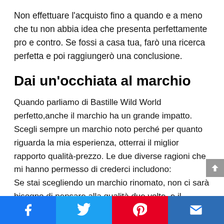Non effettuare l'acquisto fino a quando e a meno che tu non abbia idea che presenta perfettamente pro e contro. Se fossi a casa tua, farò una ricerca perfetta e poi raggiungerò una conclusione.
Dai un'occhiata al marchio
Quando parliamo di Bastille Wild World perfetto,anche il marchio ha un grande impatto. Scegli sempre un marchio noto perché per quanto riguarda la mia esperienza, otterrai il miglior rapporto qualità-prezzo. Le due diverse ragioni che mi hanno permesso di crederci includono: Se stai scegliendo un marchio rinomato, non ci sarà bisogno di pensare alla qualità due volte, e il